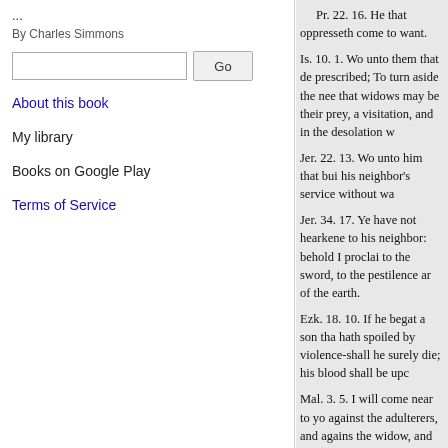...
By Charles Simmons
About this book
My library
Books on Google Play
Terms of Service
Pr. 22. 16. He that oppresseth come to want.

Is. 10. 1. Wo unto them that de prescribed; To turn aside the nee that widows may be their prey, a visitation, and in the desolation w

Jer. 22. 13. Wo unto him that bui his neighbor's service without wa

Jer. 34. 17. Ye have not hearkene to his neighbor: behold I proclai to the sword, to the pestilence ar of the earth.

Ezk. 18. 10. If he begat a son tha hath spoiled by violence-shall he surely die; his blood shall be upc

Mal. 3. 5. I will come near to yo against the adulterers, and agains the widow, and the fatherless, an of hosts.

Mat. 23. 23. Wo unto you, scri cummin, and have omitted the w